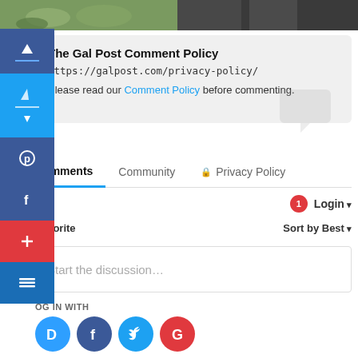[Figure (photo): Two partial photo thumbnails at the top — left shows people on grass, right shows a darker scene]
The Gal Post Comment Policy
https://galpost.com/privacy-policy/
Please read our Comment Policy before commenting.
Comments  Community  🔒 Privacy Policy
1  Login ▾
Favorite  Sort by Best ▾
Start the discussion…
OG IN WITH
[Figure (logo): Social login icons: Disqus (blue D), Facebook (dark blue f), Twitter (light blue bird), Google (red G)]